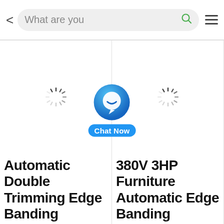[Figure (screenshot): Mobile app navigation bar with back arrow, search box reading 'What are you', green search icon, and hamburger menu]
[Figure (screenshot): Product listing grid with two columns. Left column shows a loading spinner and product title starting with 'Automatic Double Trimming Edge Banding...'. Right column shows a loading spinner and product title starting with '380V 3HP Furniture Automatic Edge Banding...'. A 'Chat Now' button with blue circular chat icon overlays the center of the grid.]
Automatic Double Trimming Edge Banding
380V 3HP Furniture Automatic Edge Banding